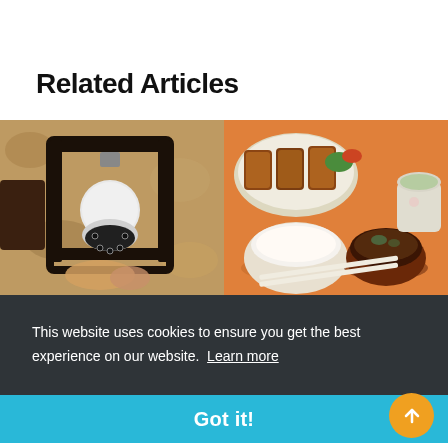Related Articles
[Figure (photo): Security camera being installed in an outdoor lantern fixture on a textured beige/tan stucco wall]
[Figure (photo): Japanese meal set on an orange mat: tonkatsu (breaded pork cutlet), rice bowl, miso soup, green tea, and chopsticks]
This website uses cookies to ensure you get the best experience on our website. Learn more
Got it!